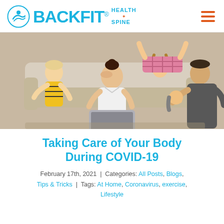BACKFIT HEALTH SPINE
[Figure (photo): A stressed woman sitting on the floor in front of a couch with a laptop, rubbing her forehead, while children play chaotically around her — one boy in a yellow striped shirt on the left, a child lying upside down on the couch in the middle, and a man holding a child on the right.]
Taking Care of Your Body During COVID-19
February 17th, 2021 | Categories: All Posts, Blogs, Tips & Tricks | Tags: At Home, Coronavirus, exercise, Lifestyle